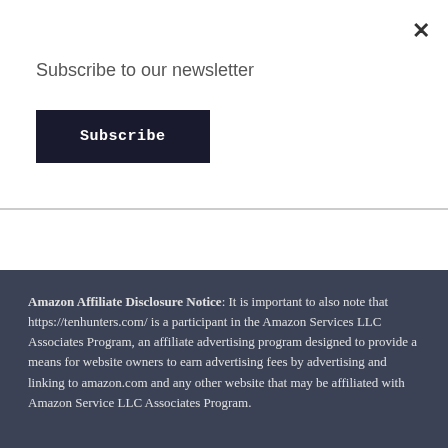Subscribe to our newsletter
Subscribe
-->
Amazon Affiliate Disclosure Notice: It is important to also note that https://tenhunters.com/ is a participant in the Amazon Services LLC Associates Program, an affiliate advertising program designed to provide a means for website owners to earn advertising fees by advertising and linking to amazon.com and any other website that may be affiliated with Amazon Service LLC Associates Program.